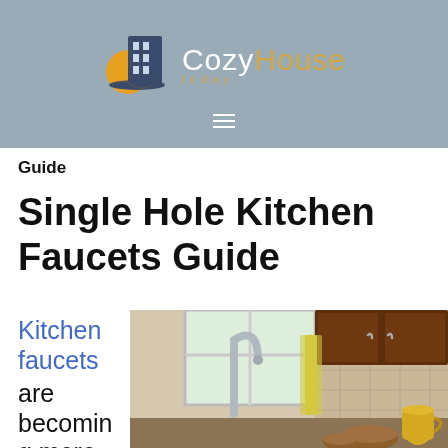[Figure (logo): CozyHouse Today logo with building and sun icon on blue-gray background]
Guide
Single Hole Kitchen Faucets Guide
Kitchen faucets are becoming more
[Figure (photo): Kitchen scene with a single hole faucet at a sink, window in background, dark wood cabinets, and wooden bowls with yellow pitcher on counter]